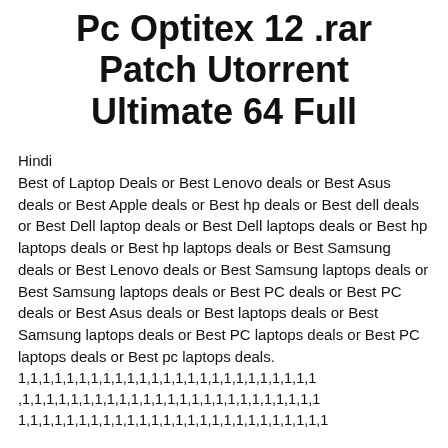Pc Optitex 12 .rar Patch Utorrent Ultimate 64 Full
Hindi
Best of Laptop Deals or Best Lenovo deals or Best Asus deals or Best Apple deals or Best hp deals or Best dell deals or Best Dell laptop deals or Best Dell laptops deals or Best hp laptops deals or Best hp laptops deals or Best Samsung deals or Best Lenovo deals or Best Samsung laptops deals or Best Samsung laptops deals or Best PC deals or Best PC deals or Best Asus deals or Best laptops deals or Best Samsung laptops deals or Best PC laptops deals or Best PC laptops deals or Best pc laptops deals.
1,1,1,1,1,1,1,1,1,1,1,1,1,1,1,1,1,1,1,1,1,1,1,1,1,1,1,1,1,1,1,1,1,1,1,1,1,1,1,1,1,1,1,1,1,1,1,1,1,1,1,1,1